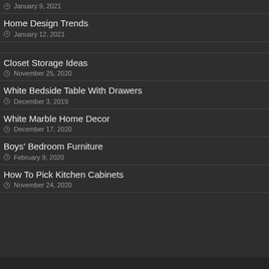January 9, 2021
Home Design Trends
January 12, 2021
Closet Storage Ideas
November 25, 2020
White Bedside Table With Drawers
December 3, 2019
White Marble Home Decor
December 17, 2020
Boys' Bedroom Furniture
February 9, 2020
How To Pick Kitchen Cabinets
November 24, 2020